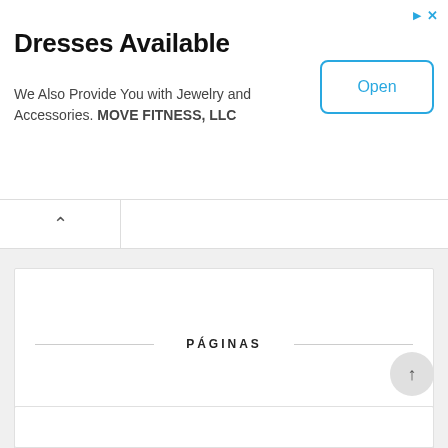[Figure (screenshot): Advertisement banner for Dresses with Open button]
Dresses Available
We Also Provide You with Jewelry and Accessories. MOVE FITNESS, LLC
PÁGINAS
Página principal
AVISO LEGAL Y POLÍTICA DE PRIVACIDAD